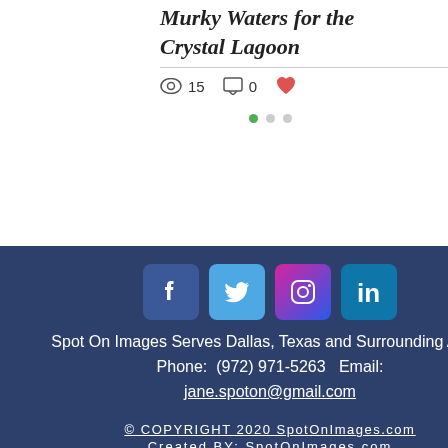Murky Waters for the Crystal Lagoon
15 views  0 comments
[Figure (infographic): Pagination dots: one green active dot followed by two grey dots]
[Figure (infographic): Social media icons row: Facebook (blue), Twitter (light blue), Instagram (pink/purple gradient), LinkedIn (blue)]
Spot On Images Serves Dallas, Texas and Surrounding Areas
Phone: (972) 971-5263  Email: jane.spoton@gmail.com
© COPYRIGHT 2020 SpotOnImages.com
Created BY: SpotOnImages.com
[Figure (photo): American flag image at the bottom]